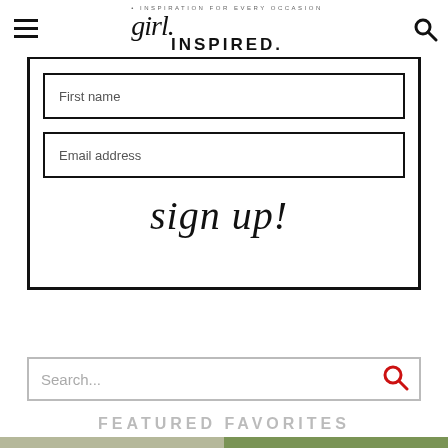girl. INSPIRATION FOR EVERY OCCASION INSPIRED.
[Figure (screenshot): Sign-up form with First name and Email address input fields and a cursive 'sign up!' button, inside a thick black border box]
[Figure (screenshot): Search bar with placeholder text 'Search...' and a red search icon on the right]
FEATURED FAVORITES
[Figure (photo): Two side-by-side food photos partially visible at the bottom of the page]